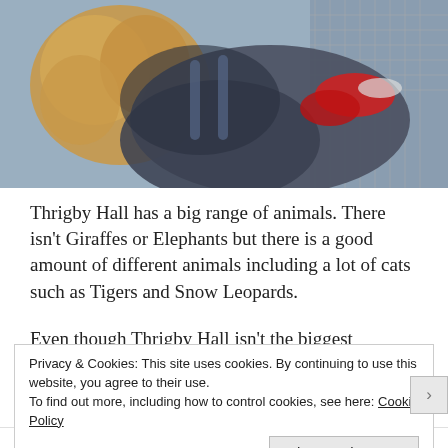[Figure (photo): Overhead photo of a child in a grey jacket with red shoes and curly light-brown hair, viewed from behind near a wire fence or enclosure at what appears to be a zoo or animal park.]
Thrigby Hall has a big range of animals. There isn't Giraffes or Elephants but there is a good amount of different animals including a lot of cats such as Tigers and Snow Leopards.
Even though Thrigby Hall isn't the biggest attraction, it does
Privacy & Cookies: This site uses cookies. By continuing to use this website, you agree to their use.
To find out more, including how to control cookies, see here: Cookie Policy
Close and accept